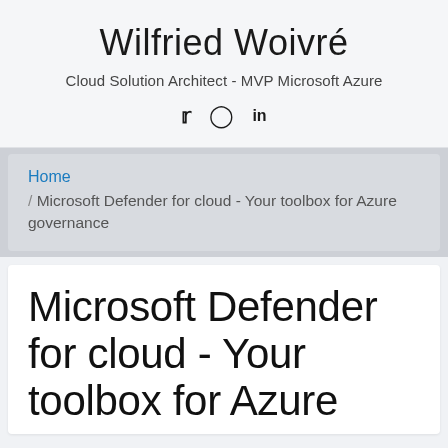Wilfried Woivré
Cloud Solution Architect - MVP Microsoft Azure
[Figure (infographic): Social media icons: Twitter bird, GitHub octocat, LinkedIn 'in' logo]
Home / Microsoft Defender for cloud - Your toolbox for Azure governance
Microsoft Defender for cloud - Your toolbox for Azure